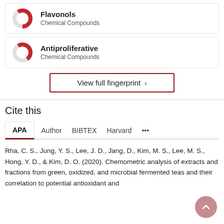[Figure (donut-chart): Donut chart icon for Flavonols - Chemical Compounds]
Flavonols
Chemical Compounds
[Figure (donut-chart): Donut chart icon for Antiproliferative - Chemical Compounds]
Antiproliferative
Chemical Compounds
View full fingerprint >
Cite this
APA  Author  BIBTEX  Harvard  ...
Rha, C. S., Jung, Y. S., Lee, J. D., Jang, D., Kim, M. S., Lee, M. S., Hong, Y. D., & Kim, D. O. (2020). Chemometric analysis of extracts and fractions from green, oxidized, and microbial fermented teas and their correlation to potential antioxidant and